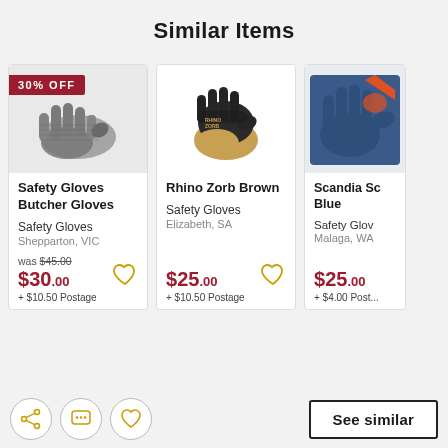Similar Items
[Figure (photo): Safety glove (chainmail/mesh butcher glove, grey) with 30% OFF badge]
Safety Gloves Butcher Gloves
Safety Gloves
Shepparton, VIC
was $45.00
$30.00
+ $10.50 Postage
[Figure (photo): Rhino Zorb Brown safety glove (black and tan mechanic glove)]
Rhino Zorb Brown
Safety Gloves
Elizabeth, SA
$25.00
+ $10.50 Postage
[Figure (photo): Scandia Safety Glove Blue (partially visible blue welding glove with orange accent)]
Scandia Sc Blue
Safety Glov
Malaga, WA
$25.00
+ $4.00 Post...